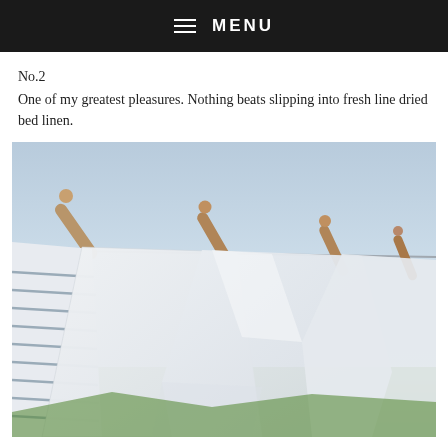≡ MENU
No.2
One of my greatest pleasures. Nothing beats slipping into fresh line dried bed linen.
[Figure (photo): White bed linens and striped fabric hanging on an outdoor clothesline with wooden pegs, blue sky and green grass in background.]